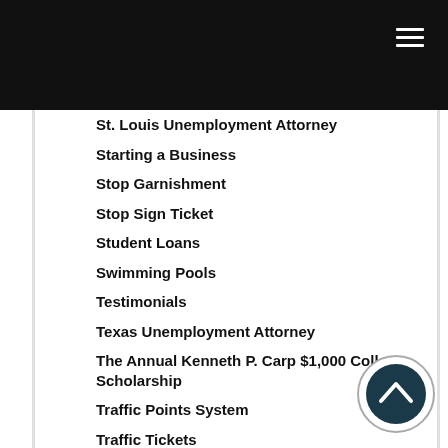St. Louis Unemployment Attorney
Starting a Business
Stop Garnishment
Stop Sign Ticket
Student Loans
Swimming Pools
Testimonials
Texas Unemployment Attorney
The Annual Kenneth P. Carp $1,000 College Scholarship
Traffic Points System
Traffic Tickets
Traffic Videos
Trip and Fall
Unemployment
Unemployment Administrative Hearings